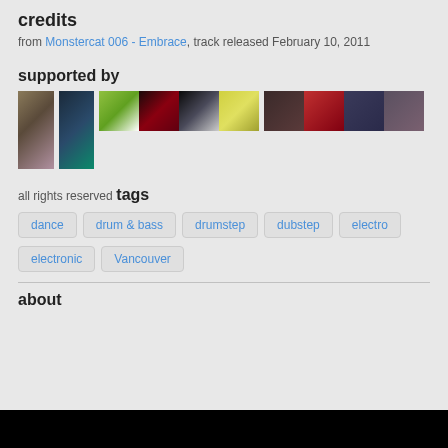credits
from Monstercat 006 - Embrace, track released February 10, 2011
supported by
[Figure (photo): A grid of supporter avatar images including photos of plants, robots, abstract art, and characters]
all rights reserved
tags
dance
drum & bass
drumstep
dubstep
electro
electronic
Vancouver
about
[Figure (photo): Black bar at bottom of page]